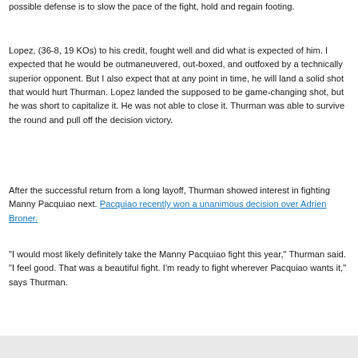possible defense is to slow the pace of the fight, hold and regain footing.
Lopez, (36-8, 19 KOs) to his credit, fought well and did what is expected of him. I expected that he would be outmaneuvered, out-boxed, and outfoxed by a technically superior opponent. But I also expect that at any point in time, he will land a solid shot that would hurt Thurman. Lopez landed the supposed to be game-changing shot, but he was short to capitalize it. He was not able to close it. Thurman was able to survive the round and pull off the decision victory.
After the successful return from a long layoff, Thurman showed interest in fighting Manny Pacquiao next. Pacquiao recently won a unanimous decision over Adrien Broner.
"I would most likely definitely take the Manny Pacquiao fight this year," Thurman said. "I feel good. That was a beautiful fight. I'm ready to fight wherever Pacquiao wants it," says Thurman.